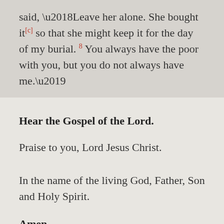said, ‘Leave her alone. She bought it[c] so that she might keep it for the day of my burial. 8 You always have the poor with you, but you do not always have me.’
Hear the Gospel of the Lord.
Praise to you, Lord Jesus Christ.
In the name of the living God, Father, Son and Holy Spirit.
Amen.